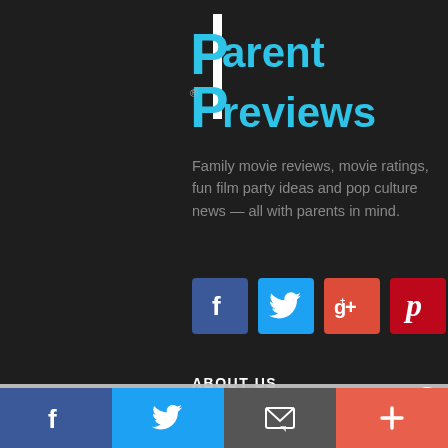[Figure (logo): Parent Previews logo with cyan/blue text and white vertical bar, registered trademark symbol]
Family movie reviews, movie ratings, fun film party ideas and pop culture news — all with parents in mind.
[Figure (infographic): Social media icons: Facebook (blue), Twitter (cyan), Google+ (red-orange), Pinterest (red)]
ABOUT US
About Parent Previews
Making the Grades
Terms of Service
FAQ
Privacy Policy
[Figure (infographic): Bottom navigation bar with Facebook, Twitter, email/envelope, and plus icons]